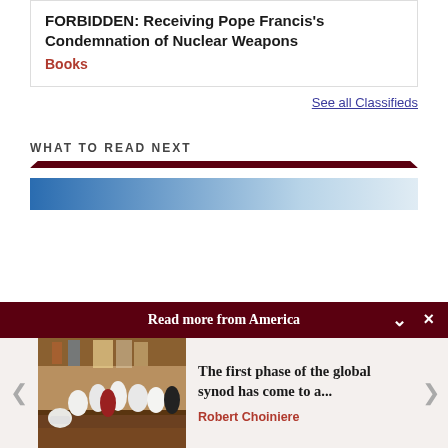FORBIDDEN: Receiving Pope Francis's Condemnation of Nuclear Weapons
Books
See all Classifieds
WHAT TO READ NEXT
[Figure (other): Dark maroon decorative rule/divider bar]
[Figure (other): Blue gradient strip]
Read more from America
[Figure (photo): Church interior with clergy in white robes during a ceremony]
The first phase of the global synod has come to a...
Robert Choiniere